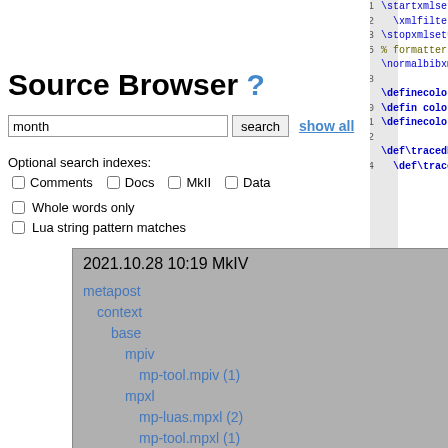Source Browser ?
month  search  show all
Optional search indexes:
Comments  Docs  MkII  Data
Whole words only
Lua string pattern matches
2021.10.28 10:19 MkIV
metapost
  context
    base
      mpiv
        mp-tool.mpiv (1)
      mpxl
        mp-luas.mpxl (2)
        mp-tool.mpxl (1)
tex
  context
    base